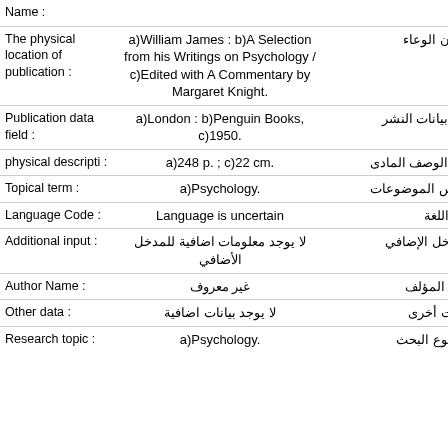| Field Label | Content | Arabic Label |
| --- | --- | --- |
| Name : |  | خص |
| The physical location of publication : | a)William James : b)A Selection from his Writings on Psychology / c)Edited with A Commentary by Margaret Knight. | عنوان الوعاء |
| Publication data field : | a)London : b)Penguin Books, c)1950. | نقل بيانات النشر |
| physical descripti : | a)248 p. ; c)22 cm. | نقل الوصف المادى |
| Topical term : | a)Psychology. | رؤوس الموضوعات |
| Language Code : | Language is uncertain | رمز اللغة |
| Additional input : | لا يوجد معلومات اضافية للمدخل الأضافي | المدخل الإضافي |
| Author Name : | غير معروف | اسم المؤلف |
| Other data : | لا يوجد بيانات اضافية | بيانات أخرى |
| Research topic : | a)Psychology. | موضوع البحث |